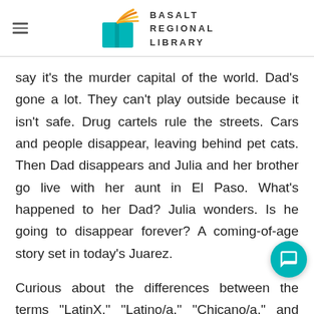BASALT REGIONAL LIBRARY
say it's the murder capital of the world. Dad's gone a lot. They can't play outside because it isn't safe. Drug cartels rule the streets. Cars and people disappear, leaving behind pet cats. Then Dad disappears and Julia and her brother go live with her aunt in El Paso. What's happened to her Dad? Julia wonders. Is he going to disappear forever? A coming-of-age story set in today's Juarez.
Curious about the differences between the terms "LatinX," "Latino/a," "Chicano/a," and "Hispanic" when to use which term? We recommend